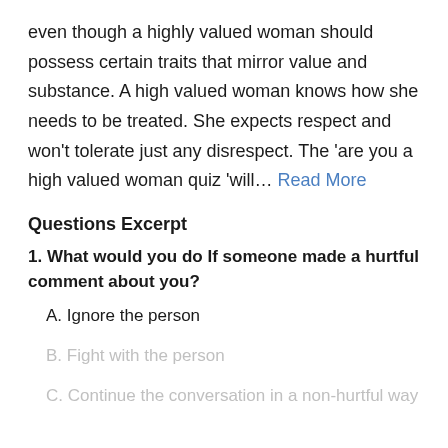even though a highly valued woman should possess certain traits that mirror value and substance. A high valued woman knows how she needs to be treated. She expects respect and won't tolerate just any disrespect. The 'are you a high valued woman quiz 'will... Read More
Questions Excerpt
1. What would you do If someone made a hurtful comment about you?
A. Ignore the person
B. Fight with the person
C. Continue the conversation in a non-hurtful way